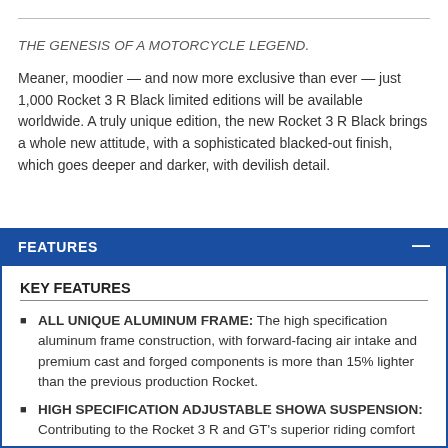THE GENESIS OF A MOTORCYCLE LEGEND.
Meaner, moodier — and now more exclusive than ever — just 1,000 Rocket 3 R Black limited editions will be available worldwide. A truly unique edition, the new Rocket 3 R Black brings a whole new attitude, with a sophisticated blacked-out finish, which goes deeper and darker, with devilish detail.
FEATURES
KEY FEATURES
ALL UNIQUE ALUMINUM FRAME: The high specification aluminum frame construction, with forward-facing air intake and premium cast and forged components is more than 15% lighter than the previous production Rocket.
HIGH SPECIFICATION ADJUSTABLE SHOWA SUSPENSION: Contributing to the Rocket 3 R and GT's superior riding comfort and exceptional handling